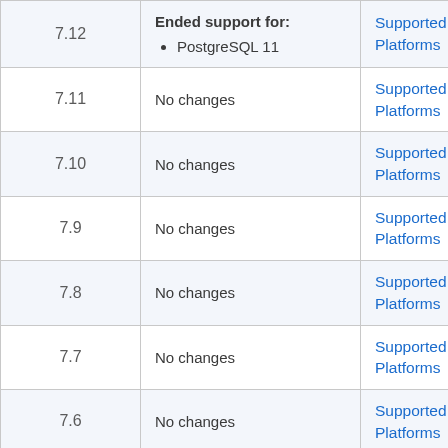| Version | Changes | Links |
| --- | --- | --- |
| 7.12 | Ended support for:
• PostgreSQL 11 | Supported Platforms |
| 7.11 | No changes | Supported Platforms |
| 7.10 | No changes | Supported Platforms |
| 7.9 | No changes | Supported Platforms |
| 7.8 | No changes | Supported Platforms |
| 7.7 | No changes | Supported Platforms |
| 7.6 | No changes | Supported Platforms |
| ? | Ended support for: | Supported |